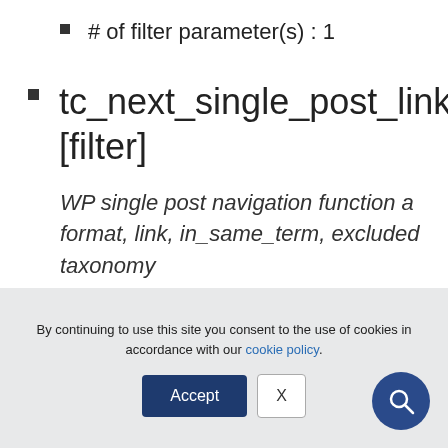# of filter parameter(s) : 1
tc_next_single_post_link_[filter]
WP single post navigation function a format, link, in_same_term, excluded taxonomy
Value / type : array
# of filter parameter(s) : 1
By continuing to use this site you consent to the use of cookies in accordance with our cookie policy.